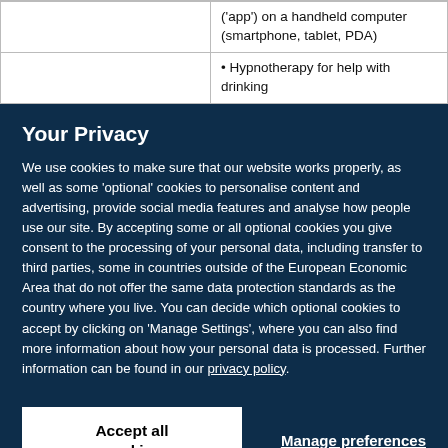|  | ('app') on a handheld computer (smartphone, tablet, PDA) |
|  | • Hypnotherapy for help with drinking |
Your Privacy
We use cookies to make sure that our website works properly, as well as some 'optional' cookies to personalise content and advertising, provide social media features and analyse how people use our site. By accepting some or all optional cookies you give consent to the processing of your personal data, including transfer to third parties, some in countries outside of the European Economic Area that do not offer the same data protection standards as the country where you live. You can decide which optional cookies to accept by clicking on 'Manage Settings', where you can also find more information about how your personal data is processed. Further information can be found in our privacy policy.
Accept all cookies
Manage preferences